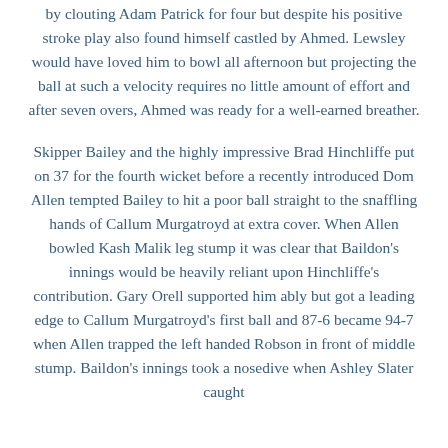by clouting Adam Patrick for four but despite his positive stroke play also found himself castled by Ahmed. Lewsley would have loved him to bowl all afternoon but projecting the ball at such a velocity requires no little amount of effort and after seven overs, Ahmed was ready for a well-earned breather.
Skipper Bailey and the highly impressive Brad Hinchliffe put on 37 for the fourth wicket before a recently introduced Dom Allen tempted Bailey to hit a poor ball straight to the snaffling hands of Callum Murgatroyd at extra cover. When Allen bowled Kash Malik leg stump it was clear that Baildon's innings would be heavily reliant upon Hinchliffe's contribution. Gary Orell supported him ably but got a leading edge to Callum Murgatroyd's first ball and 87-6 became 94-7 when Allen trapped the left handed Robson in front of middle stump. Baildon's innings took a nosedive when Ashley Slater caught